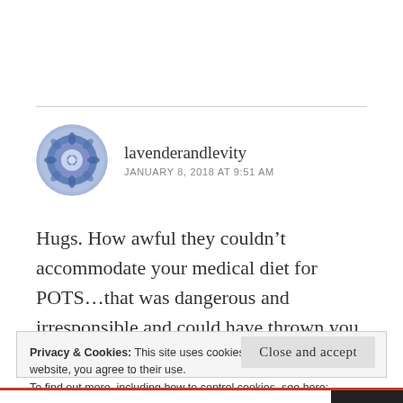[Figure (illustration): Circular avatar with blue mandala/floral pattern design]
lavenderandlevity
JANUARY 8, 2018 AT 9:51 AM
Hugs. How awful they couldn’t accommodate your medical diet for POTS…that was dangerous and irresponsible and could have thrown you into
Privacy & Cookies: This site uses cookies. By continuing to use this website, you agree to their use.
To find out more, including how to control cookies, see here:
Cookie Policy
Close and accept